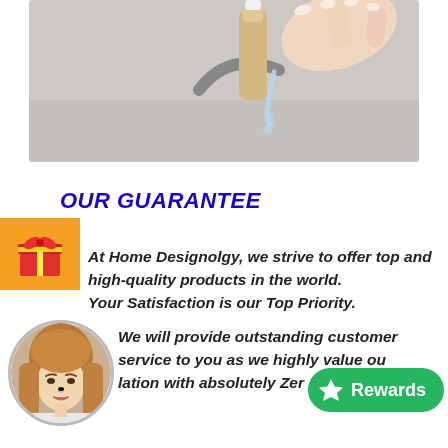[Figure (photo): Close-up photo of a hand holding a bottle under running water over a kitchen sink]
OUR GUARANTEE
[Figure (illustration): Orange gift box icon/badge on orange background]
At Home Designolgy, we strive to offer top and high-quality products in the world. Your Satisfaction is our Top Priority.
[Figure (photo): Circular avatar photo of a young woman with long light brown hair]
We will provide outstanding customer service to you as we highly value our relationship with absolutely Zero
[Figure (illustration): Green Rewards button with a star icon]